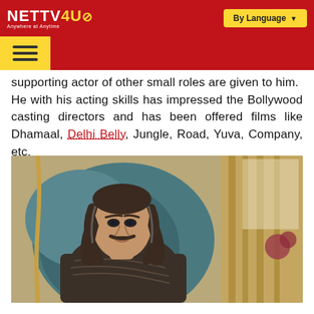NETTV4U - Anywhere at Anytime | By Language
supporting actor of other small roles are given to him. He with his acting skills has impressed the Bollywood casting directors and has been offered films like Dhamaal, Delhi Belly, Jungle, Road, Yuva, Company, etc.
[Figure (photo): Actor in costume, with long hair and ornate jacket, seated in a teal velvet chair]